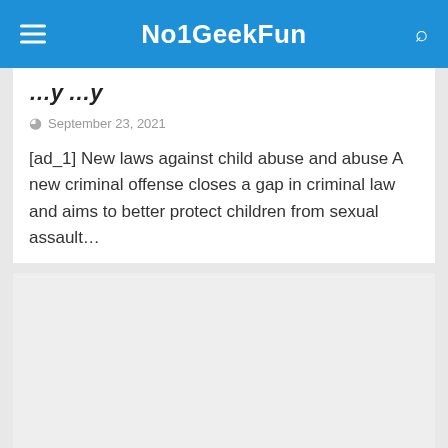No1GeekFun
…y …y
September 23, 2021
[ad_1] New laws against child abuse and abuse A new criminal offense closes a gap in criminal law and aims to better protect children from sexual assault…
[Figure (other): Advertisement placeholder box with light gray background]